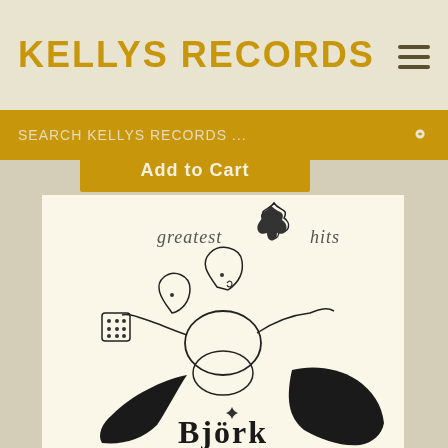KELLYS RECORDS
SEARCH KELLYS RECORDS ...
Add to Cart
[Figure (photo): Björk Greatest Hits album cover showing a hand-drawn illustration of a multi-armed creature with the text 'Greatest Hits' at top and 'Björk' at the bottom, black and white drawing on cream background]